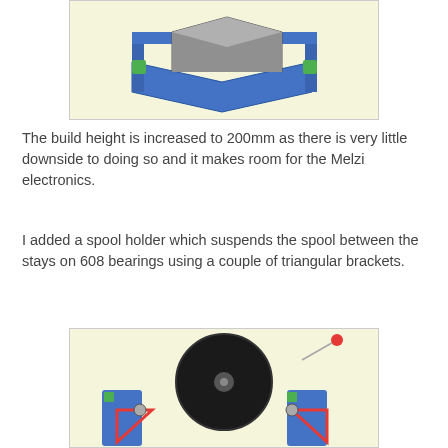[Figure (engineering-diagram): 3D CAD rendering of a printer frame structure — blue frame with a gray rectangular box component on top, shown in isometric view against a cream/yellow background.]
The build height is increased to 200mm as there is very little downside to doing so and it makes room for the Melzi electronics.
I added a spool holder which suspends the spool between the stays on 608 bearings using a couple of triangular brackets.
[Figure (engineering-diagram): 3D CAD rendering of a spool holder assembly — a large black filament spool mounted between blue vertical stays with red triangular brackets and 608 bearings. A thin rod/guide extends to the upper right in red/silver. Viewed from the front against a cream/yellow background.]